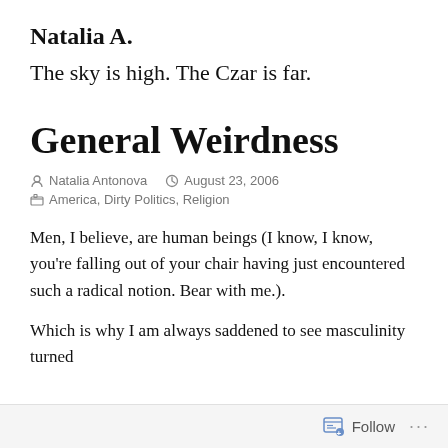Natalia A.
The sky is high. The Czar is far.
General Weirdness
Natalia Antonova   August 23, 2006
America, Dirty Politics, Religion
Men, I believe, are human beings (I know, I know, you're falling out of your chair having just encountered such a radical notion. Bear with me.).
Which is why I am always saddened to see masculinity turned
Follow